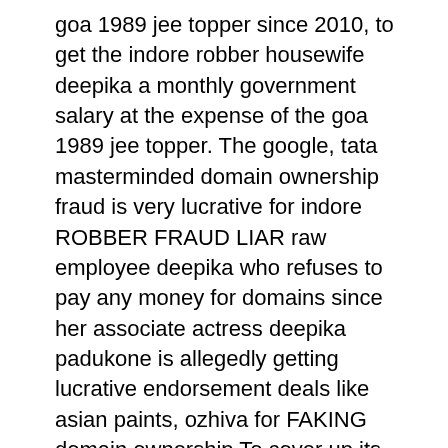goa 1989 jee topper since 2010, to get the indore robber housewife deepika a monthly government salary at the expense of the goa 1989 jee topper. The google, tata masterminded domain ownership fraud is very lucrative for indore ROBBER FRAUD LIAR raw employee deepika who refuses to pay any money for domains since her associate actress deepika padukone is allegedly getting lucrative endorsement deals like asian paints, ozhiva for FAKING domain ownership To cover up its EDUCATIONAL, FINANCIAL ONLINE FRAUD, the madhya pradesh government is allegedly aggressively BRIBING all the hindi television channels, especially republic tv, they are showing the MP government promotional ads repeatedly so that no one in the mainstream media covers the massive MP government financial,online fraud of getting indore's greedy fraud SHAMELESS ROBBER raw employee deepika who does not pay money for domains, a monthly government salary for FAKING domain